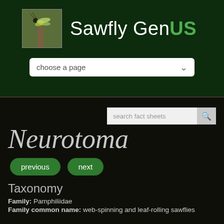[Figure (screenshot): Website header for Sawfly GenUS showing logo image of a sawfly insect on a branch and site title text]
Sawfly GenUS
choose a page
search fact sheets
Neurotoma
previous
next
Taxonomy
Family: Pamphiliidae
Family common name: web-spinning and leaf-rolling sawflies